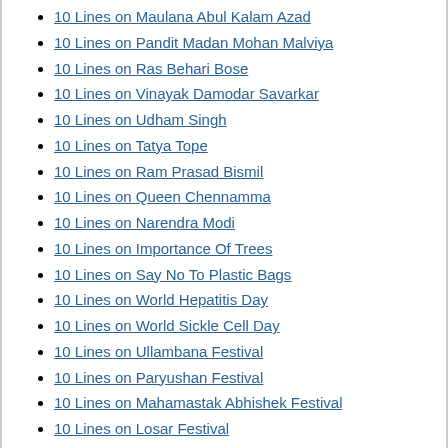10 Lines on Maulana Abul Kalam Azad
10 Lines on Pandit Madan Mohan Malviya
10 Lines on Ras Behari Bose
10 Lines on Vinayak Damodar Savarkar
10 Lines on Udham Singh
10 Lines on Tatya Tope
10 Lines on Ram Prasad Bismil
10 Lines on Queen Chennamma
10 Lines on Narendra Modi
10 Lines on Importance Of Trees
10 Lines on Say No To Plastic Bags
10 Lines on World Hepatitis Day
10 Lines on World Sickle Cell Day
10 Lines on Ullambana Festival
10 Lines on Paryushan Festival
10 Lines on Mahamastak Abhishek Festival
10 Lines on Losar Festival
10 Lines on Hemis Gompa Festival
10 Lines on Dev Deepawali
10 Lines on Buddha Purnima